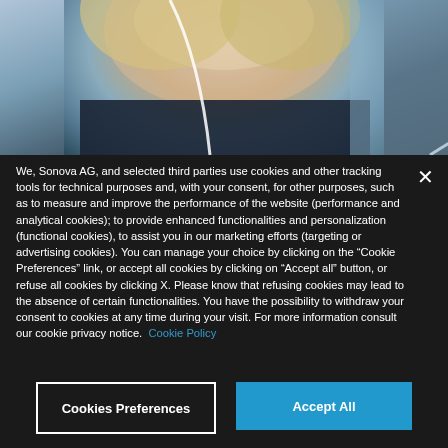[Figure (photo): Photo of a woman with blonde hair wearing a dark jacket, with a hearing aid or stethoscope cable visible, blurred background]
We, Sonova AG, and selected third parties use cookies and other tracking tools for technical purposes and, with your consent, for other purposes, such as to measure and improve the performance of the website (performance and analytical cookies); to provide enhanced functionalities and personalization (functional cookies), to assist you in our marketing efforts (targeting or advertising cookies). You can manage your choice by clicking on the “Cookie Preferences” link, or accept all cookies by clicking on “Accept all” button, or refuse all cookies by clicking X. Please know that refusing cookies may lead to the absence of certain functionalities. You have the possibility to withdraw your consent to cookies at any time during your visit. For more information consult our cookie privacy notice.  Cookie Policy